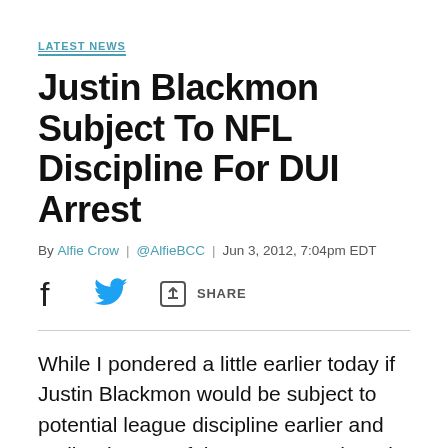LATEST NEWS
Justin Blackmon Subject To NFL Discipline For DUI Arrest
By Alfie Crow | @AlfieBCC | Jun 3, 2012, 7:04pm EDT
[Figure (infographic): Social sharing bar with Facebook icon, Twitter bird icon, and Share button with upload/share icon]
While I pondered a little earlier today if Justin Blackmon would be subject to potential league discipline earlier and outlined some of the new CBA where it would apply, it does look like the air has been